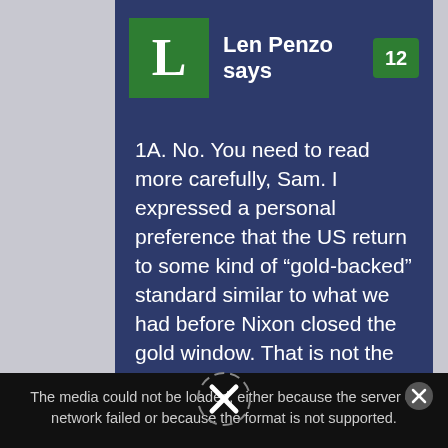Len Penzo says
12
1A. No. You need to read more carefully, Sam. I expressed a personal preference that the US return to some kind of “gold-backed” standard similar to what we had before Nixon closed the gold window. That is not the same as saying that the US will return to a gold-standard — although it probably will be forced to, in some form.
1B. Sam … Come on. “A legitimate currency does NOT hold its value” I
The media could not be loaded, either because the server or network failed or because the format is not supported.